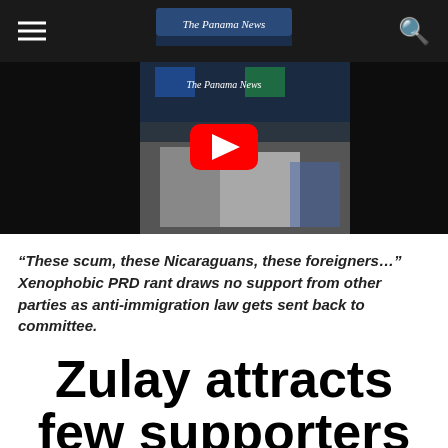The Panama News
[Figure (screenshot): YouTube video thumbnail showing a person at a podium/microphone with a YouTube play button overlay. The Panama News logo is visible at the top of the video.]
“These scum, these Nicaraguans, these foreigners…” Xenophobic PRD rant draws no support from other parties as anti-immigration law gets sent back to committee.
Zulay attracts few supporters to the gallery, no non-PRD votes